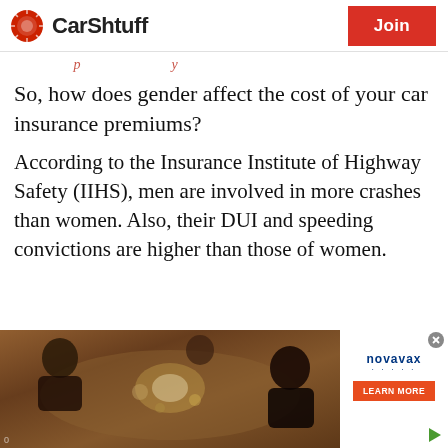CarShtuff | Join
...p...y...
So, how does gender affect the cost of your car insurance premiums?
According to the Insurance Institute of Highway Safety (IIHS), men are involved in more crashes than women. Also, their DUI and speeding convictions are higher than those of women.
[Figure (photo): Overhead/aerial view of people sitting around a table, warm brown tones]
[Figure (other): Novavax advertisement with LEARN MORE button]